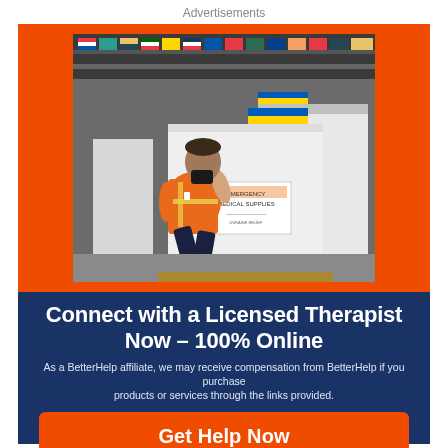Advertisements
[Figure (photo): A person in an orange safety vest and face mask crouching next to white pallets labeled 'Emergency Medical Supplies' in a warehouse with international flags hanging from the ceiling.]
Connect with a Licensed Therapist Now - 100% Online
As a BetterHelp affiliate, we may receive compensation from BetterHelp if you purchase products or services through the links provided.
Get Help Now